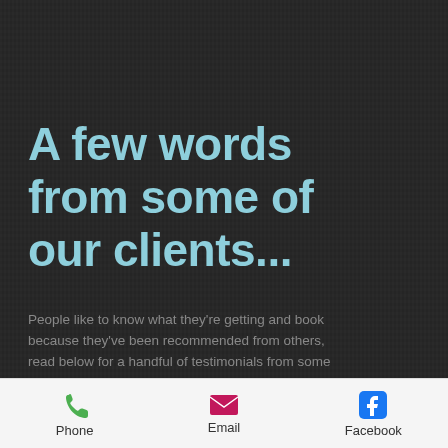A few words from some of our clients...
People like to know what they're getting and book because they've been recommended from others, read below for a handful of testimonials from some of our clients.
[Figure (infographic): Mobile app footer navigation bar with three items: Phone (green phone icon), Email (pink/magenta envelope icon), Facebook (blue Facebook logo icon)]